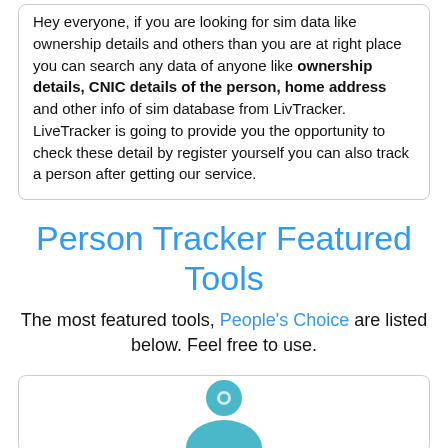Hey everyone, if you are looking for sim data like ownership details and others than you are at right place you can search any data of anyone like ownership details, CNIC details of the person, home address and other info of sim database from LivTracker. LiveTracker is going to provide you the opportunity to check these detail by register yourself you can also track a person after getting our service.
Person Tracker Featured Tools
The most featured tools, People's Choice are listed below. Feel free to use.
[Figure (illustration): Person tracker icon — a teal/cyan silhouette of a person (head and shoulders) inside a rounded rectangle card at the bottom of the page]